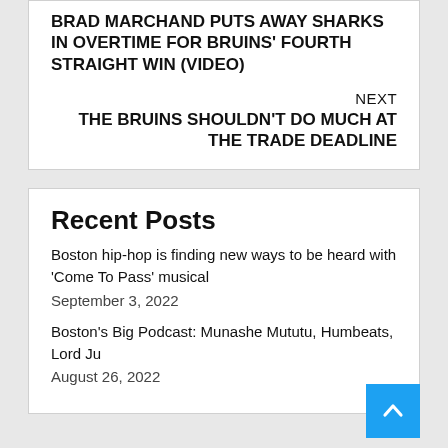BRAD MARCHAND PUTS AWAY SHARKS IN OVERTIME FOR BRUINS' FOURTH STRAIGHT WIN (VIDEO)
NEXT
THE BRUINS SHOULDN'T DO MUCH AT THE TRADE DEADLINE
Recent Posts
Boston hip-hop is finding new ways to be heard with 'Come To Pass' musical
September 3, 2022
Boston's Big Podcast: Munashe Mututu, Humbeats, Lord Ju
August 26, 2022